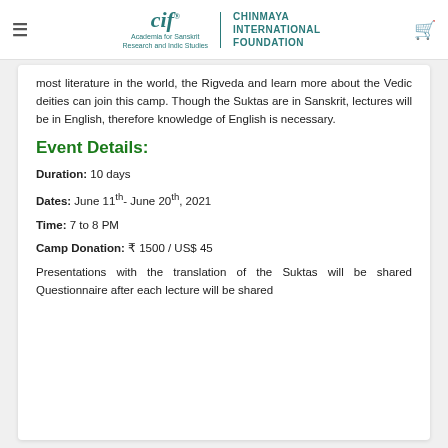Chinmaya International Foundation — Academia for Sanskrit Research and Indic Studies
most literature in the world, the Rigveda and learn more about the Vedic deities can join this camp. Though the Suktas are in Sanskrit, lectures will be in English, therefore knowledge of English is necessary.
Event Details:
Duration: 10 days
Dates: June 11th- June 20th, 2021
Time: 7 to 8 PM
Camp Donation: ₹ 1500 / US$ 45
Presentations with the translation of the Suktas will be shared Questionnaire after each lecture will be shared